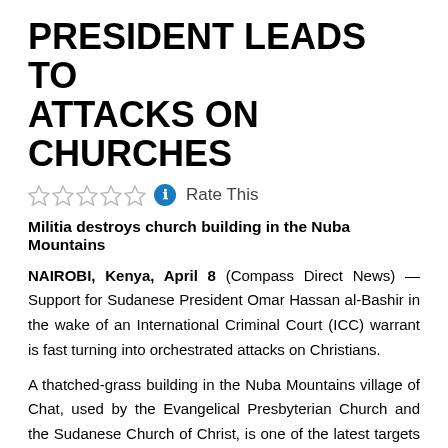PRESIDENT LEADS TO ATTACKS ON CHURCHES
[Figure (other): Star rating widget with 5 outlined stars, a blue info icon, and 'Rate This' label]
Militia destroys church building in the Nuba Mountains
NAIROBI, Kenya, April 8 (Compass Direct News) — Support for Sudanese President Omar Hassan al-Bashir in the wake of an International Criminal Court (ICC) warrant is fast turning into orchestrated attacks on Christians.
A thatched-grass building in the Nuba Mountains village of Chat, used by the Evangelical Presbyterian Church and the Sudanese Church of Christ, is one of the latest targets of such attacks.
The building was destroyed by fire on March 27 by a suspected government militia. Pro-Bashir mobs have attacked those they...